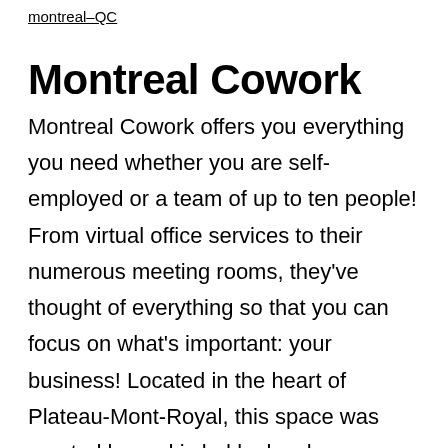montreal–QC
Montreal Cowork
Montreal Cowork offers you everything you need whether you are self-employed or a team of up to ten people! From virtual office services to their numerous meeting rooms, they've thought of everything so that you can focus on what's important: your business! Located in the heart of Plateau-Mont-Royal, this space was created by and is led by local entrepreneurs. Whether you need a private office to work independently or are seeking